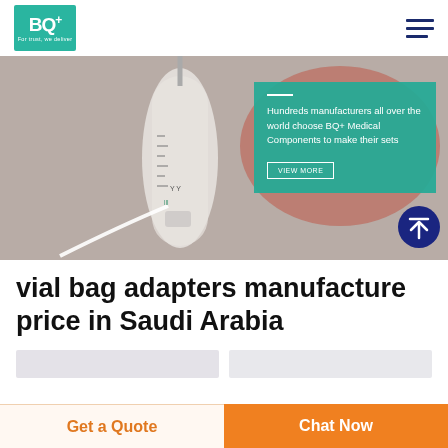[Figure (logo): BQ+ logo with green background and tagline 'For trust, we deliver']
[Figure (photo): Close-up photo of IV drip/medical vial bag adapter with blurred red background, with a teal overlay box containing text 'Hundreds manufacturers all over the world choose BQ+ Medical Components to make their sets' and a VIEW MORE button. A dark blue circular arrow-up icon appears in the bottom right.]
vial bag adapters manufacture price in Saudi Arabia
Get a Quote
Chat Now